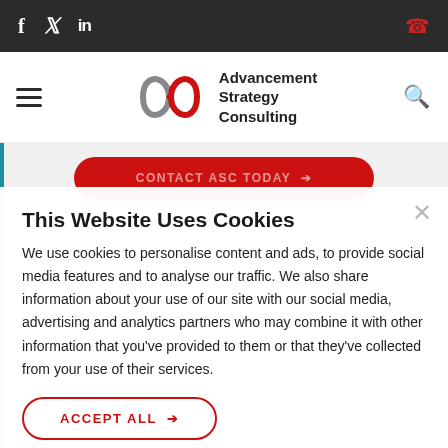f  🐦  in  📞
[Figure (logo): Advancement Strategy Consulting logo with infinity-style circular arrow graphic in red and gray]
CONTACT ASC TODAY →
This Website Uses Cookies
We use cookies to personalise content and ads, to provide social media features and to analyse our traffic. We also share information about your use of our site with our social media, advertising and analytics partners who may combine it with other information that you've provided to them or that they've collected from your use of their services.
ACCEPT ALL →